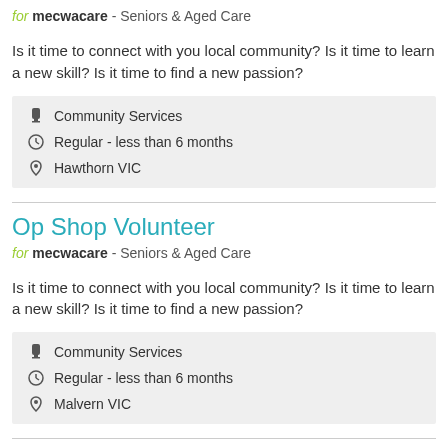for mecwacare - Seniors & Aged Care
Is it time to connect with you local community? Is it time to learn a new skill? Is it time to find a new passion?
Community Services
Regular - less than 6 months
Hawthorn VIC
Op Shop Volunteer
for mecwacare - Seniors & Aged Care
Is it time to connect with you local community? Is it time to learn a new skill? Is it time to find a new passion?
Community Services
Regular - less than 6 months
Malvern VIC
FILM DEVELOPMENT AND MENTORING - YOUTH PROJECT
for Volunteering Coffs Harbour - Community Services